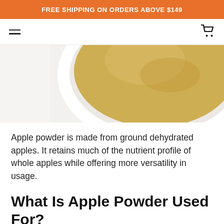FREE SHIPPING ON ORDERS ABOVE $149
[Figure (photo): A white bowl containing golden-yellow apple powder on a white background, photographed from above at an angle showing the rim and powder texture.]
Apple powder is made from ground dehydrated apples. It retains much of the nutrient profile of whole apples while offering more versatility in usage.
What Is Apple Powder Used For?